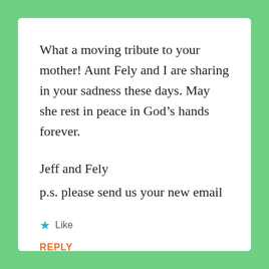What a moving tribute to your mother! Aunt Fely and I are sharing in your sadness these days. May she rest in peace in God’s hands forever.
Jeff and Fely
p.s. please send us your new email
★ Like
REPLY